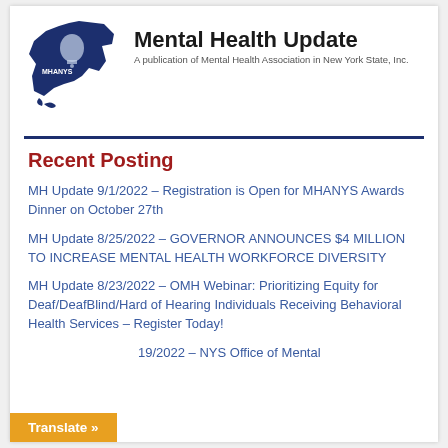[Figure (logo): MHANYS logo with New York State map silhouette in dark blue with bell icon and 'MHANYS' text]
Mental Health Update
A publication of Mental Health Association in New York State, Inc.
Recent Posting
MH Update 9/1/2022 – Registration is Open for MHANYS Awards Dinner on October 27th
MH Update 8/25/2022 – GOVERNOR ANNOUNCES $4 MILLION TO INCREASE MENTAL HEALTH WORKFORCE DIVERSITY
MH Update 8/23/2022 – OMH Webinar: Prioritizing Equity for Deaf/DeafBlind/Hard of Hearing Individuals Receiving Behavioral Health Services – Register Today!
MH Update 8/19/2022 – NYS Office of Mental
Translate »